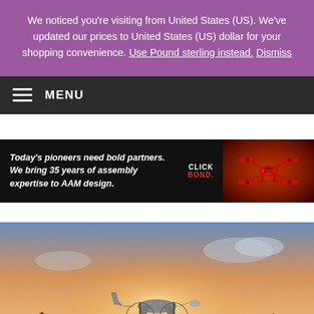We noticed you're visiting from United States (US). We've updated our prices to United States (US) dollar for your shopping convenience. Use Pound sterling instead. Dismiss
[Figure (screenshot): Dark navigation bar with hamburger menu icon and MENU text]
[Figure (illustration): Click Bond advertisement banner: 'Today's pioneers need bold partners. We bring 35 years of assembly expertise to AAM design.' with Click Bond logo and red drone image]
[Figure (photo): Front-on view of a twin-propeller aircraft on a runway at sunset/golden hour, with dramatic sky in the background]